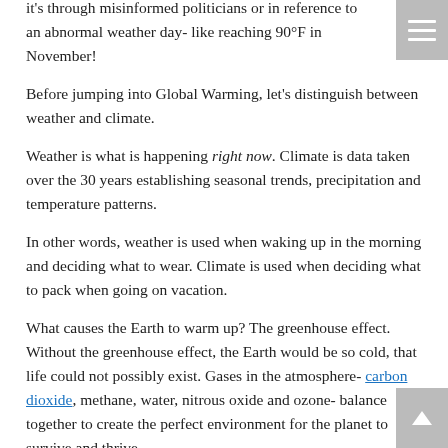it's through misinformed politicians or in reference to an abnormal weather day- like reaching 90°F in November!
Before jumping into Global Warming, let's distinguish between weather and climate.
Weather is what is happening right now. Climate is data taken over the 30 years establishing seasonal trends, precipitation and temperature patterns.
In other words, weather is used when waking up in the morning and deciding what to wear. Climate is used when deciding what to pack when going on vacation.
What causes the Earth to warm up? The greenhouse effect. Without the greenhouse effect, the Earth would be so cold, that life could not possibly exist. Gases in the atmosphere- carbon dioxide, methane, water, nitrous oxide and ozone- balance together to create the perfect environment for the planet to survive and thrive.